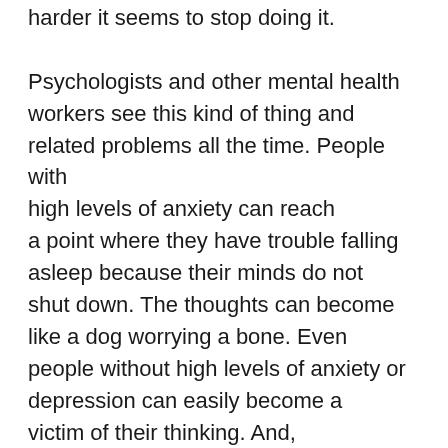harder it seems to stop doing it.

Psychologists and other mental health workers see this kind of thing and related problems all the time. People with high levels of anxiety can reach a point where they have trouble falling asleep because their minds do not shut down. The thoughts can become like a dog worrying a bone. Even people without high levels of anxiety or depression can easily become a victim of their thinking. And, professionals who spend a lot of time trying to help other people relax, be less anxious and worried, less depressed, and so on, fall prey to their less than positive ways of thinking.